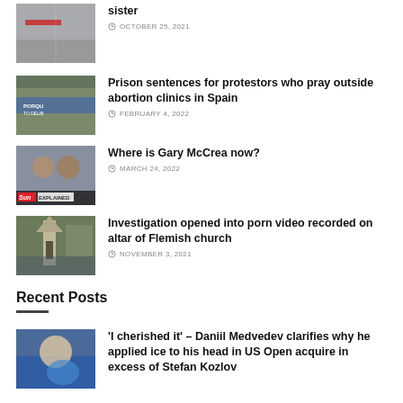sister — OCTOBER 25, 2021
Prison sentences for protestors who pray outside abortion clinics in Spain — FEBRUARY 4, 2022
Where is Gary McCrea now? — MARCH 24, 2022
Investigation opened into porn video recorded on altar of Flemish church — NOVEMBER 3, 2021
Recent Posts
'I cherished it' – Daniil Medvedev clarifies why he applied ice to his head in US Open acquire in excess of Stefan Kozlov